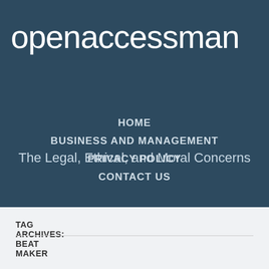openaccessman
The Legal, Ethical, and Moral Concerns
HOME
BUSINESS AND MANAGEMENT
PRIVACY POLICY
CONTACT US
TAG ARCHIVES: BEAT MAKER
Make Music Beats With A Music Maker Software